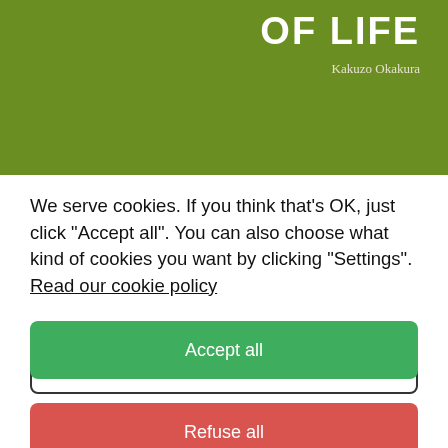OF LIFE
Kakuzo Okakura
We serve cookies. If you think that's OK, just click "Accept all". You can also choose what kind of cookies you want by clicking "Settings". Read our cookie policy
Settings
Refuse all
Accept all